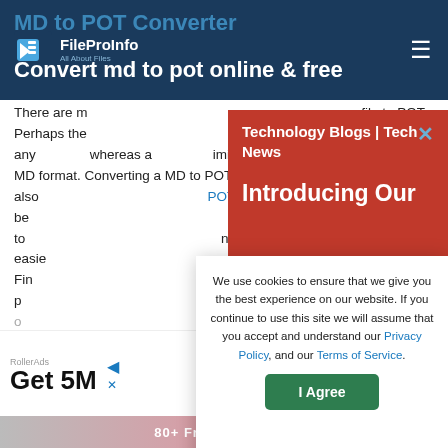MD to POT Converter
Convert md to pot online & free
There are many reasons why you'd want to convert a MD file to POT. Perhaps the most obvious benefit is that a POT can be read on any device, whereas a MD is limited to devices that support the MD format. Converting a MD to POT also means that POT files tend to be smaller in size. Additionally, if you want to share your files, it can be much easier to do so in the POT than in MD format. Finally, our MD converter provides a quick and easy process to convert your files for free using this free online tool.
[Figure (screenshot): Technology Blogs | Tech News red popup overlay with 'Introducing Our' text and close button]
[Figure (screenshot): Cookie consent modal: 'We use cookies to ensure that we give you the best experience on our website. If you continue to use this site we will assume that you accept and understand our Privacy Policy, and our Terms of Service.' with I Agree button]
[Figure (screenshot): Advertisement banner: RollerAds - Get 5M... with MORE button]
[Figure (screenshot): Bottom promo bar: 80+ Free SEO Tools]